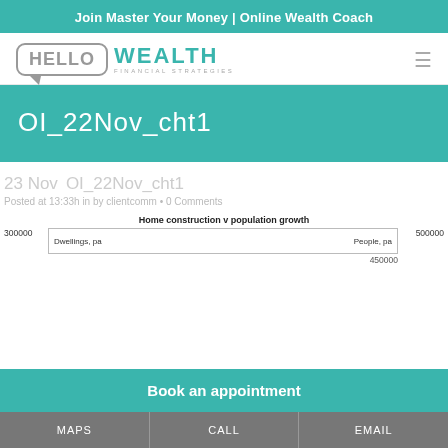Join Master Your Money | Online Wealth Coach
[Figure (logo): Hello Wealth Financial Strategies logo with speech bubble box containing HELLO and teal WEALTH text]
OI_22Nov_cht1
23 Nov OI_22Nov_cht1
Posted at 13:33h in by clientcomm • 0 Comments
[Figure (other): Partial chart preview showing 'Home construction v population growth' with axes labels: 300000, Dwellings pa, People pa, 500000, 450000]
Book an appointment
MAPS   CALL   EMAIL